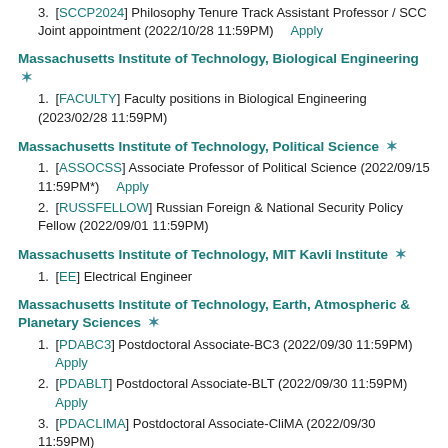[SCCP2024] Philosophy Tenure Track Assistant Professor / SCC Joint appointment (2022/10/28 11:59PM)   Apply
Massachusetts Institute of Technology, Biological Engineering
[FACULTY] Faculty positions in Biological Engineering (2023/02/28 11:59PM)
Massachusetts Institute of Technology, Political Science
[ASSOCSS] Associate Professor of Political Science (2022/09/15 11:59PM*)   Apply
[RUSSFELLOW] Russian Foreign & National Security Policy Fellow (2022/09/01 11:59PM)
Massachusetts Institute of Technology, MIT Kavli Institute
[EE] Electrical Engineer
Massachusetts Institute of Technology, Earth, Atmospheric & Planetary Sciences
[PDABC3] Postdoctoral Associate-BC3 (2022/09/30 11:59PM)  Apply
[PDABLT] Postdoctoral Associate-BLT (2022/09/30 11:59PM)  Apply
[PDACLIMA] Postdoctoral Associate-CliMA (2022/09/30 11:59PM)  Apply